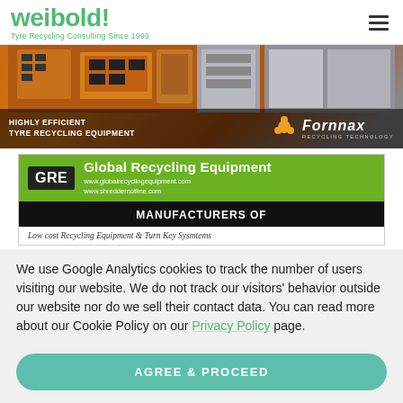[Figure (logo): Weibold logo - green text reading 'weibold!' with tagline 'Tyre Recycling Consulting Since 1999']
[Figure (photo): Fornnax recycling equipment ad - orange/industrial machinery photo with 'HIGHLY EFFICIENT TYRE RECYCLING EQUIPMENT' text and Fornnax Recycling Technology logo]
[Figure (illustration): Global Recycling Equipment (GRE) advertisement - green/black banner with GRE badge, company name, URLs, 'MANUFACTURERS OF' subtitle, and 'Low cost Recycling Equipment & Turn Key Sysmtems' text]
We use Google Analytics cookies to track the number of users visiting our website. We do not track our visitors' behavior outside our website nor do we sell their contact data. You can read more about our Cookie Policy on our Privacy Policy page.
AGREE & PROCEED